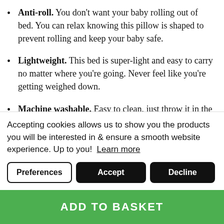Anti-roll. You don't want your baby rolling out of bed. You can relax knowing this pillow is shaped to prevent rolling and keep your baby safe.
Lightweight. This bed is super-light and easy to carry no matter where you're going. Never feel like you're getting weighed down.
Machine washable. Easy to clean, just throw it in the washer and let it run. The shape will hold even when it gets wet.
Give your baby a good night's sleep, and get one for yourself...
Accepting cookies allows us to show you the products you will be interested in & ensure a smooth website experience. Up to you! Learn more
ADD TO BASKET